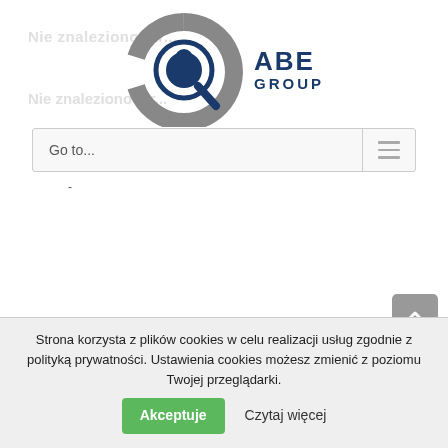[Figure (logo): ABE Group logo — circular target/magnifier icon in gray and dark blue, with 'ABE GROUP' text in dark blue to the right]
Go to...
-
Strona korzysta z plików cookies w celu realizacji usług zgodnie z polityką prywatności. Ustawienia cookies możesz zmienić z poziomu Twojej przeglądarki.
Akceptuje
Czytaj więcej